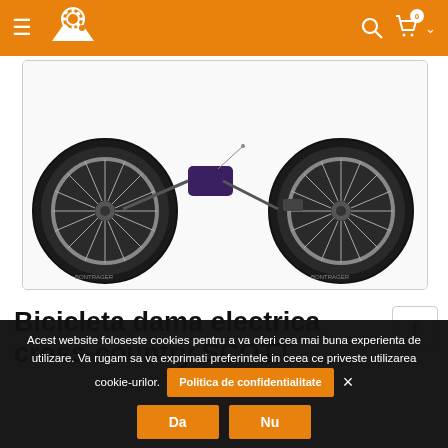Navigation header with hamburger menu, logo, search, cart (0), and chevron
[Figure (photo): Electric mountain bike (dama cross-country) shown from the side, cropped showing two wheels with black tires (Bontrager brand), frame visible in center with purple/black finish, white background, inside a rounded rectangle frame]
Bicicleta dama electrica cross-country SCOTT
Acest website foloseste cookies pentru a va oferi cea mai buna experienta de utilizare. Va rugam sa va exprimati preferintele in ceea ce priveste utilizarea cookie-urilor. Politica de confidentialitate  ×  Da  Nu